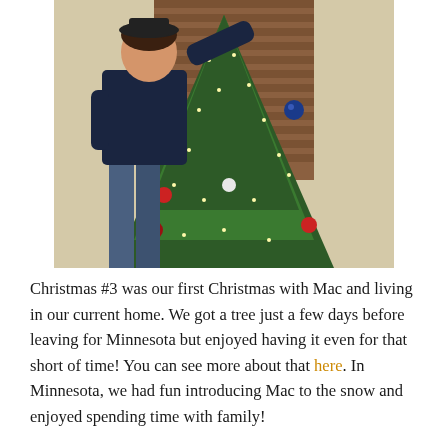[Figure (photo): A man decorating a Christmas tree by placing something on the top. The tree is a full green fir tree with lights and ornaments including a blue ball ornament. The man is wearing a dark navy long-sleeve shirt and jeans, standing indoors with wooden blinds visible in the background.]
Christmas #3 was our first Christmas with Mac and living in our current home. We got a tree just a few days before leaving for Minnesota but enjoyed having it even for that short of time! You can see more about that here. In Minnesota, we had fun introducing Mac to the snow and enjoyed spending time with family!